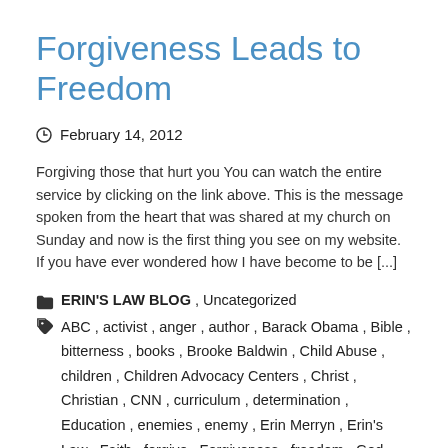Forgiveness Leads to Freedom
February 14, 2012
Forgiving those that hurt you You can watch the entire service by clicking on the link above. This is the message spoken from the heart that was shared at my church on Sunday and now is the first thing you see on my website. If you have ever wondered how I have become to be [...]
ERIN'S LAW BLOG , Uncategorized
ABC , activist , anger , author , Barack Obama , Bible , bitterness , books , Brooke Baldwin , Child Abuse , children , Children Advocacy Centers , Christ , Christian , CNN , curriculum , determination , Education , enemies , enemy , Erin Merryn , Erin's Law , Faith , forgive , Forgiveness , freedom , God , Good Morning America , Governor Quinn , grace , gradituted , hatred , heavenly , hope , interview , Jesus ,